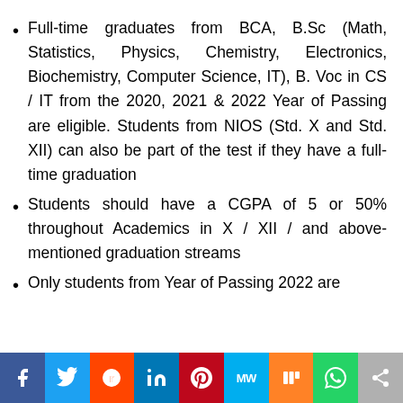Full-time graduates from BCA, B.Sc (Math, Statistics, Physics, Chemistry, Electronics, Biochemistry, Computer Science, IT), B. Voc in CS / IT from the 2020, 2021 & 2022 Year of Passing are eligible. Students from NIOS (Std. X and Std. XII) can also be part of the test if they have a full-time graduation
Students should have a CGPA of 5 or 50% throughout Academics in X / XII / and above-mentioned graduation streams
Only students from Year of Passing 2022 are